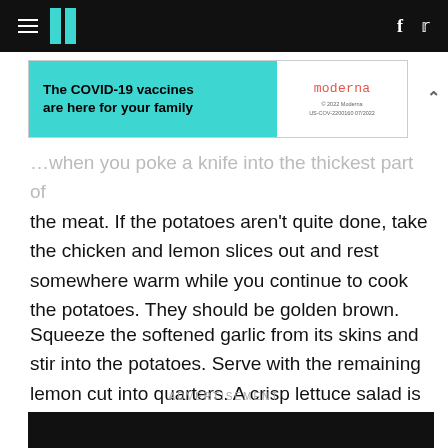HuffPost navigation header with hamburger menu, logo, Facebook and Twitter icons
[Figure (infographic): Advertisement banner: teal left panel with bold text 'The COVID-19 vaccines are here for your family', white right panel with Moderna logo and copyright text '© 2022 Moderna US-COV-2200160 07/2022']
...when you poke a knife into the thickest part of the meat. If the potatoes aren't quite done, take the chicken and lemon slices out and rest somewhere warm while you continue to cook the potatoes. They should be golden brown.
Squeeze the softened garlic from its skins and stir into the potatoes. Serve with the remaining lemon cut into quarters. A crisp lettuce salad is good with this.
ADVERTISEMENT